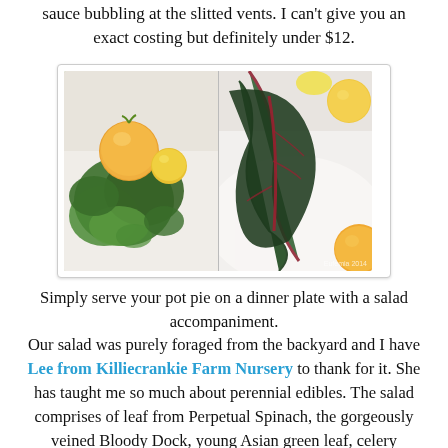sauce bubbling at the slitted vents. I can't give you an exact costing but definitely under $12.
[Figure (photo): Two food photos side by side: left shows orange/yellow heirloom tomatoes with green herbs on a white surface; right shows dark green veined Bloody Dock leaves with orange citrus pieces on a white surface, with a small watermark bottom right.]
Simply serve your pot pie on a dinner plate with a salad accompaniment.
Our salad was purely foraged from the backyard and I have Lee from Killiecrankie Farm Nursery to thank for it. She has taught me so much about perennial edibles. The salad comprises of leaf from Perpetual Spinach, the gorgeously veined Bloody Dock, young Asian green leaf, celery flavoured  lovage leaf , tiny cucumbery tasting Salad Burnett, tiny micro leaves from the mint just starting to make a comeback because of a lovely sunny week here. I've sliced